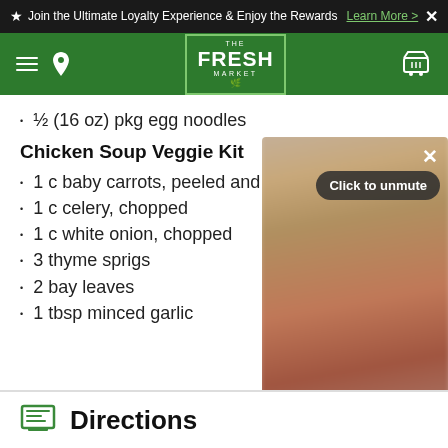★ Join the Ultimate Loyalty Experience & Enjoy the Rewards  Learn More > ✕
[Figure (logo): The Fresh Market logo on green navigation bar with hamburger menu, location pin, and cart icon]
½ (16 oz) pkg egg noodles
Chicken Soup Veggie Kit
1 c baby carrots, peeled and chopped
1 c celery, chopped
1 c white onion, chopped
3 thyme sprigs
2 bay leaves
1 tbsp minced garlic
[Figure (screenshot): Video player overlay with blurred orange/brown background, close X button, Click to unmute button, and pause/play controls]
Directions